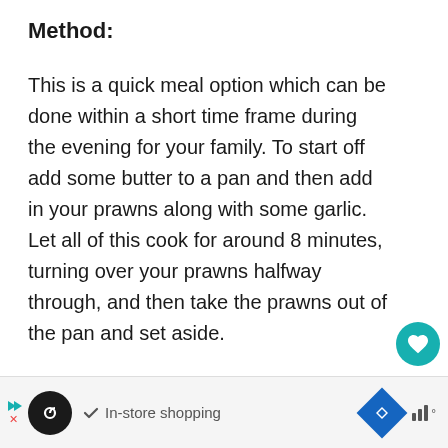Method:
This is a quick meal option which can be done within a short time frame during the evening for your family. To start off add some butter to a pan and then add in your prawns along with some garlic. Let all of this cook for around 8 minutes, turning over your prawns halfway through, and then take the prawns out of the pan and set aside.
[Figure (other): Heart/like button (teal circle with heart icon), count label '1', and share button (circle with share icon)]
[Figure (other): Advertisement bar at bottom: skip arrows, black circle logo with infinity icon, checkmark with 'In-store shopping' text, blue diamond navigation icon, signal bars icon]